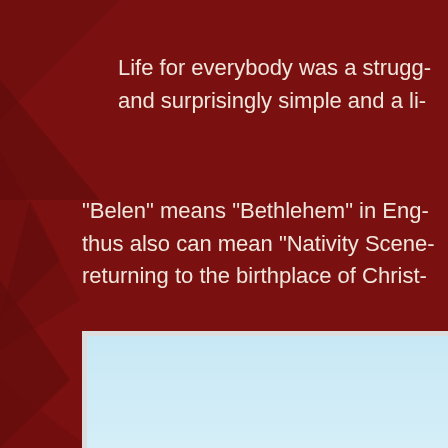Life for everybody was a strugg- and surprisingly simple and a li-
"Belen" means "Bethlehem" in Eng- thus also can mean "Nativity Scene- returning to the birthplace of Christ-
Yet the trip somehow felt sad, may-
[Figure (photo): Light blue sky or background photo, partially visible at bottom of page]